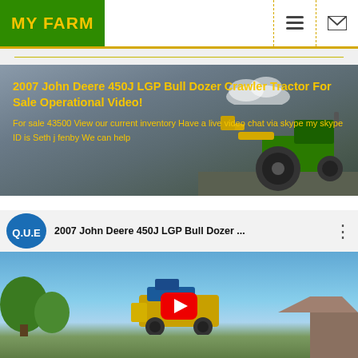MY FARM
[Figure (photo): Hero banner showing a John Deere tractor in a field against a cloudy sky, with yellow text overlay]
2007 John Deere 450J LGP Bull Dozer Crawler Tractor For Sale Operational Video!
For sale 43500 View our current inventory Have a live video chat via skype my skype ID is Seth j fenby We can help
[Figure (screenshot): YouTube video thumbnail showing '2007 John Deere 450J LGP Bull Dozer ...' with QUE channel logo, three-dot menu, and a thumbnail of agricultural equipment with a red play button]